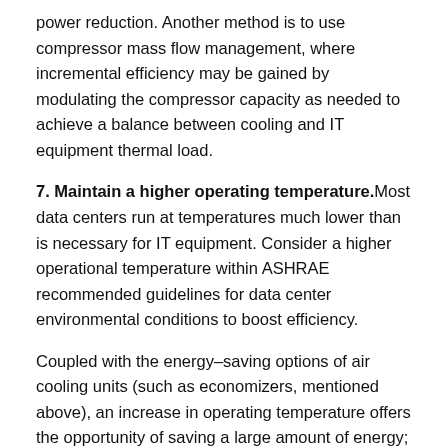power reduction. Another method is to use compressor mass flow management, where incremental efficiency may be gained by modulating the compressor capacity as needed to achieve a balance between cooling and IT equipment thermal load.
7. Maintain a higher operating temperature. Most data centers run at temperatures much lower than is necessary for IT equipment. Consider a higher operational temperature within ASHRAE recommended guidelines for data center environmental conditions to boost efficiency.
Coupled with the energy-saving options of air cooling units (such as economizers, mentioned above), an increase in operating temperature offers the opportunity of saving a large amount of energy; 5 percent or more of the cooling system energy is not uncommon.
It’s vital that design choices for a new, expanded or